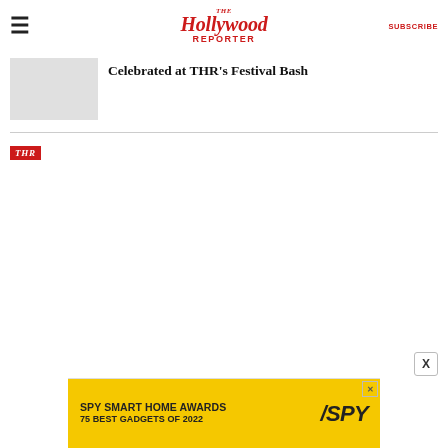The Hollywood Reporter — SUBSCRIBE
[Figure (photo): Gray placeholder thumbnail image for article]
Celebrated at THR's Festival Bash
[Figure (logo): THR red badge logo]
[Figure (infographic): SPY Smart Home Awards advertisement banner — SPY SMART HOME AWARDS / 75 BEST GADGETS OF 2022]